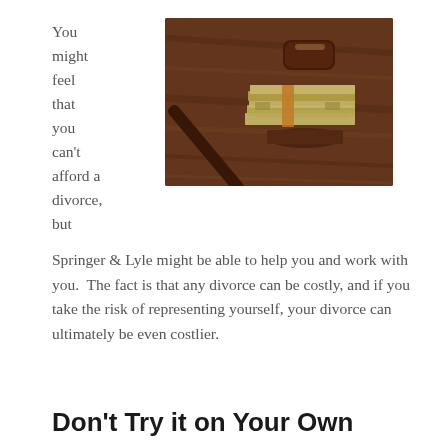You might feel that you can't afford a divorce, but
[Figure (photo): A judge's gavel resting on stacks of dollar bills on a wooden surface]
Springer & Lyle might be able to help you and work with you.  The fact is that any divorce can be costly, and if you take the risk of representing yourself, your divorce can ultimately be even costlier.
Don't Try it on Your Own